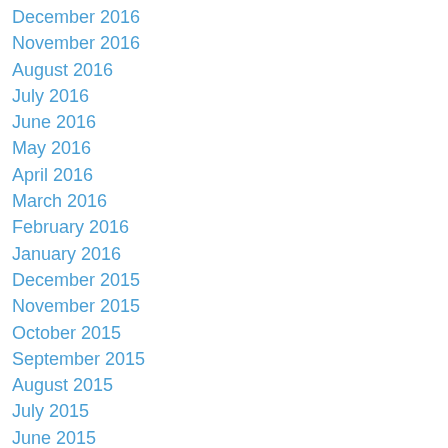December 2016
November 2016
August 2016
July 2016
June 2016
May 2016
April 2016
March 2016
February 2016
January 2016
December 2015
November 2015
October 2015
September 2015
August 2015
July 2015
June 2015
May 2015
April 2015
March 2015
February 2015